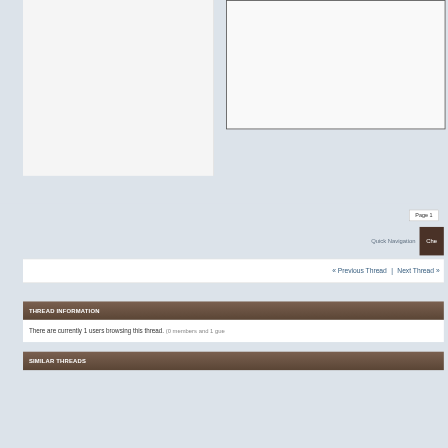Page 1
Quick Navigation
Che
« Previous Thread | Next Thread »
THREAD INFORMATION
There are currently 1 users browsing this thread. (0 members and 1 gue
SIMILAR THREADS